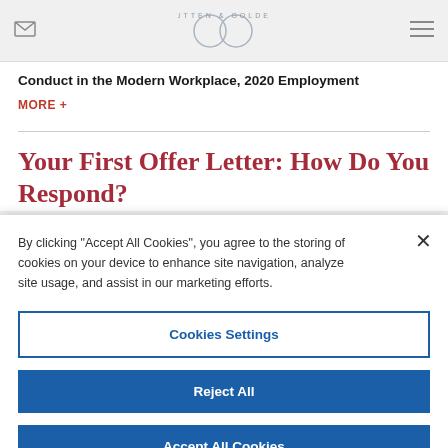OUTTEN & GOLDEN
Conduct in the Modern Workplace, 2020 Employment
MORE +
Your First Offer Letter: How Do You Respond?
By clicking "Accept All Cookies", you agree to the storing of cookies on your device to enhance site navigation, analyze site usage, and assist in our marketing efforts.
Cookies Settings
Reject All
Accept All Cookies